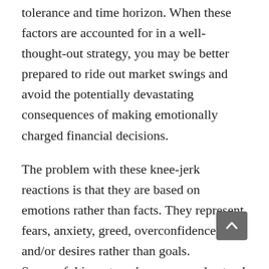tolerance and time horizon. When these factors are accounted for in a well-thought-out strategy, you may be better prepared to ride out market swings and avoid the potentially devastating consequences of making emotionally charged financial decisions.
The problem with these knee-jerk reactions is that they are based on emotions rather than facts. They represent fears, anxiety, greed, overconfidence and/or desires rather than goals. Successful investors, however, understand that the movement of the markets is based on long-term historic trends and short-term influences. They are practiced in the art of self-control and keeping their eyes of their long-term investment and retirement savings plan.